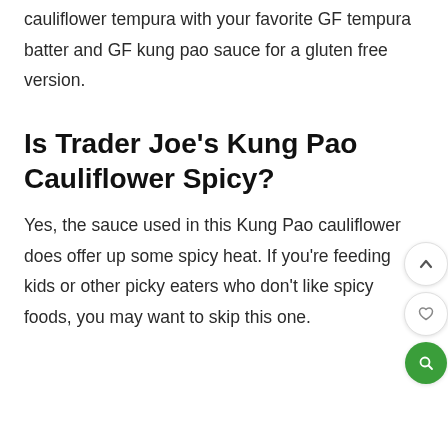cauliflower tempura with your favorite GF tempura batter and GF kung pao sauce for a gluten free version.
Is Trader Joe's Kung Pao Cauliflower Spicy?
Yes, the sauce used in this Kung Pao cauliflower does offer up some spicy heat. If you're feeding kids or other picky eaters who don't like spicy foods, you may want to skip this one.